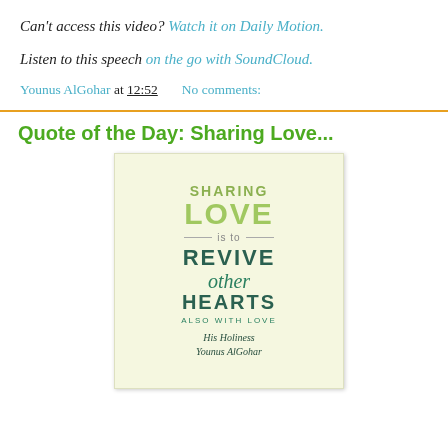Can't access this video? Watch it on Daily Motion.
Listen to this speech on the go with SoundCloud.
Younus AlGohar at 12:52   No comments:
Quote of the Day: Sharing Love...
[Figure (illustration): Typographic quote image on light yellow background reading: SHARING LOVE is to REVIVE other HEARTS ALSO WITH LOVE — His Holiness Younus AlGohar]